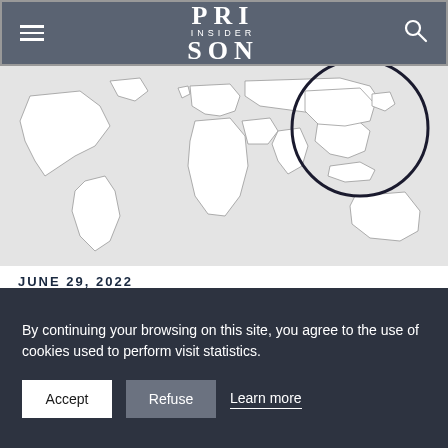PRISON INSIDER
[Figure (map): World map with a circle highlighting Southeast Asia/Myanmar region, rendered in light gray with country outlines]
JUNE 29, 2022
Myanmar's junta rejects Red Cross request to
By continuing your browsing on this site, you agree to the use of cookies used to perform visit statistics.
Accept   Refuse   Learn more